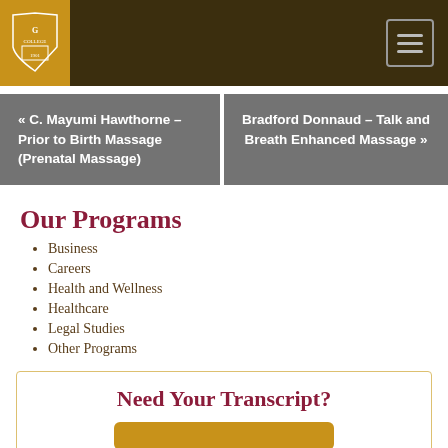[Figure (logo): Gold college shield/crest logo on golden background in header]
« C. Mayumi Hawthorne – Prior to Birth Massage (Prenatal Massage)
Bradford Donnaud – Talk and Breath Enhanced Massage »
Our Programs
Business
Careers
Health and Wellness
Healthcare
Legal Studies
Other Programs
Need Your Transcript?